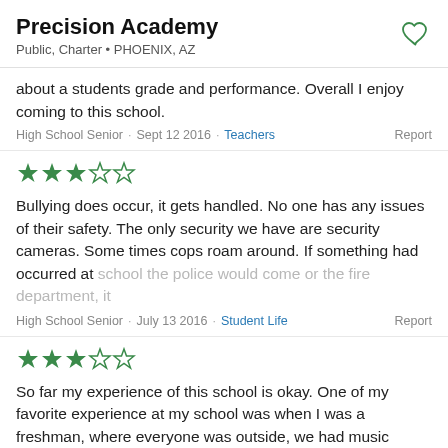Precision Academy
Public, Charter • PHOENIX, AZ
about a students grade and performance. Overall I enjoy coming to this school.
High School Senior · Sept 12 2016 · Teachers   Report
[Figure (other): 3 out of 5 stars rating (3 green filled stars, 2 empty stars)]
Bullying does occur, it gets handled. No one has any issues of their safety. The only security we have are security cameras. Some times cops roam around. If something had occurred at school the police would come or the fire department, it
High School Senior · July 13 2016 · Student Life   Report
[Figure (other): 3 out of 5 stars rating (3 green filled stars, 2 empty stars)]
So far my experience of this school is okay. One of my favorite experience at my school was when I was a freshman, where everyone was outside, we had music playing, games, and even a cake eating contest. It was pretty fun.